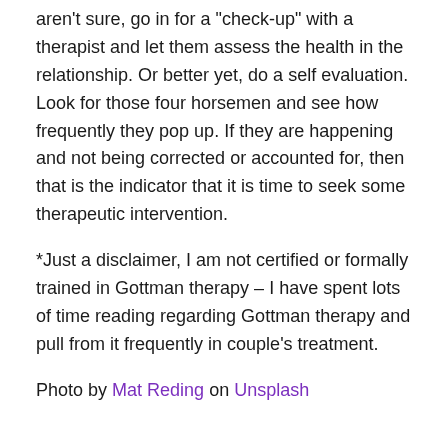aren't sure, go in for a "check-up" with a therapist and let them assess the health in the relationship. Or better yet, do a self evaluation. Look for those four horsemen and see how frequently they pop up. If they are happening and not being corrected or accounted for, then that is the indicator that it is time to seek some therapeutic intervention.
*Just a disclaimer, I am not certified or formally trained in Gottman therapy – I have spent lots of time reading regarding Gottman therapy and pull from it frequently in couple's treatment.
Photo by Mat Reding on Unsplash